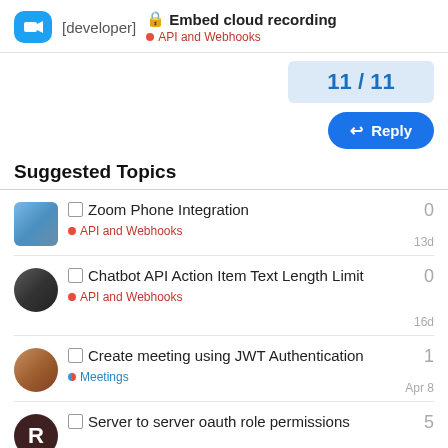[developer] 🔒 Embed cloud recording • API and Webhooks
11 / 11
Reply
Suggested Topics
□ Zoom Phone Integration • API and Webhooks  0  13d
□ Chatbot API Action Item Text Length Limit • API and Webhooks  0  16d
□ Create meeting using JWT Authentication • Meetings  1  Apr 8
□ Server to server oauth role permissions  5